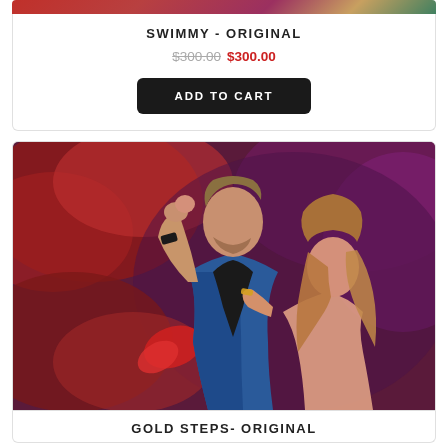[Figure (illustration): Top portion of a painting showing colorful brushstrokes, red and multicolor detail, partially cropped at top of page]
SWIMMY - ORIGINAL
$300.00 $300.00
ADD TO CART
[Figure (illustration): Oil painting of a couple dancing romantically, man in blue shirt with a wristband raising the woman's hand, woman with long flowing blonde hair, against a dramatic red and purple background]
GOLD STEPS- ORIGINAL